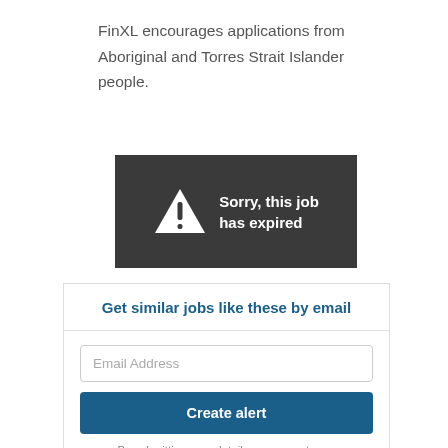FinXL encourages applications from Aboriginal and Torres Strait Islander people.
[Figure (infographic): Dark grey banner with white warning triangle (exclamation mark) icon and white text reading 'Sorry, this job has expired']
Get similar jobs like these by email
Email Address
Create alert
By submitting your details you agree to our